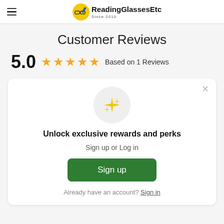ReadingGlassesEtc Since 2010
Customer Reviews
5.0 ★★★★★ Based on 1 Reviews
[Figure (illustration): Sparkle/stars icon in a light gray circle]
Unlock exclusive rewards and perks
Sign up or Log in
Sign up
Already have an account? Sign in